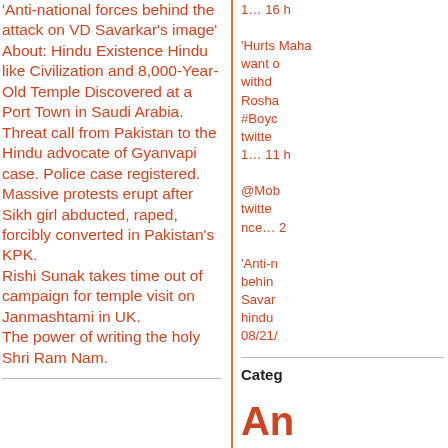'Anti-national forces behind the attack on VD Savarkar's image'
About: Hindu Existence Hindu like Civilization and 8,000-Year-Old Temple Discovered at a Port Town in Saudi Arabia.
Threat call from Pakistan to the Hindu advocate of Gyanvapi case. Police case registered.
Massive protests erupt after Sikh girl abducted, raped, forcibly converted in Pakistan's KPK.
Rishi Sunak takes time out of campaign for temple visit on Janmashtami in UK.
The power of writing the holy Shri Ram Nam.
1... 16 h
'Hurts Maharashtra, want our troops withdra... Rosha... #Boyc... twitter... 1... 11 h
@Mob twitter... nce... 2
'Anti-national forces behind... Savarkar... hinduexiste... 08/21/...
Categ
An